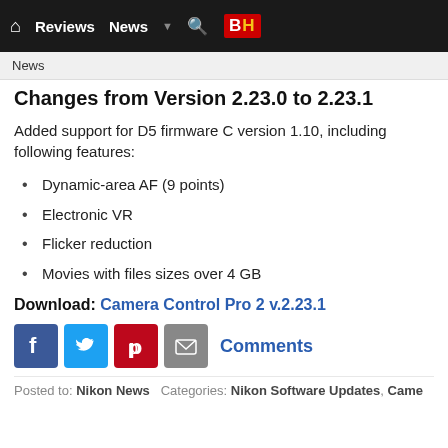Reviews  News  ▼  🔍  B|H
News
Changes from Version 2.23.0 to 2.23.1
Added support for D5 firmware C version 1.10, including following features:
Dynamic-area AF (9 points)
Electronic VR
Flicker reduction
Movies with files sizes over 4 GB
Download: Camera Control Pro 2 v.2.23.1
[Figure (infographic): Social sharing icons: Facebook, Twitter, Pinterest, Email, and Comments link]
Posted to: Nikon News   Categories: Nikon Software Updates, Came